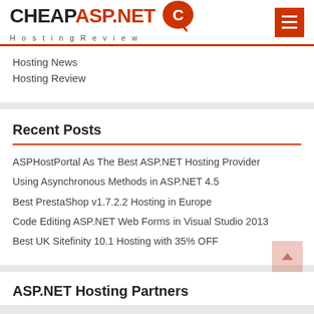CHEAPASP.NET Hosting Review
Hosting News
Hosting Review
Recent Posts
ASPHostPortal As The Best ASP.NET Hosting Provider
Using Asynchronous Methods in ASP.NET 4.5
Best PrestaShop v1.7.2.2 Hosting in Europe
Code Editing ASP.NET Web Forms in Visual Studio 2013
Best UK Sitefinity 10.1 Hosting with 35% OFF
ASP.NET Hosting Partners